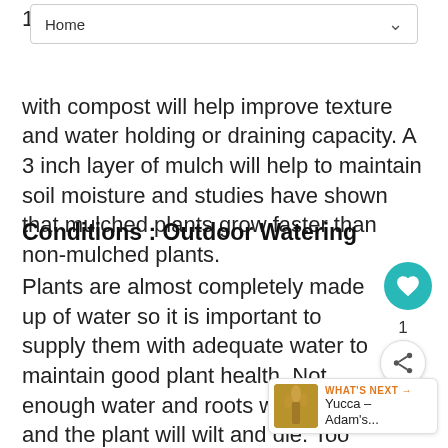Home
1 in ... with compost will help improve texture and water holding or draining capacity. A 3 inch layer of mulch will help to maintain soil moisture and studies have shown that mulched plants grow faster than non-mulched plants.
Conditions : Outdoor Watering
Plants are almost completely made up of water so it is important to supply them with adequate water to maintain good plant health. Not enough water and roots will wither and the plant will wilt and die. Too much water applied too frequently deprives roots of oxygen ... to plant diseases such as root and stem rots.
WHAT'S NEXT → Yucca – Adam's...